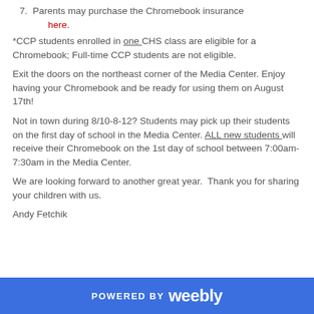7.  Parents may purchase the Chromebook insurance here.
*CCP students enrolled in one CHS class are eligible for a Chromebook; Full-time CCP students are not eligible.
Exit the doors on the northeast corner of the Media Center. Enjoy having your Chromebook and be ready for using them on August 17th!
Not in town during 8/10-8-12? Students may pick up their students on the first day of school in the Media Center. ALL new students will receive their Chromebook on the 1st day of school between 7:00am-7:30am in the Media Center.
We are looking forward to another great year.  Thank you for sharing your children with us.
Andy Fetchik
POWERED BY weebly